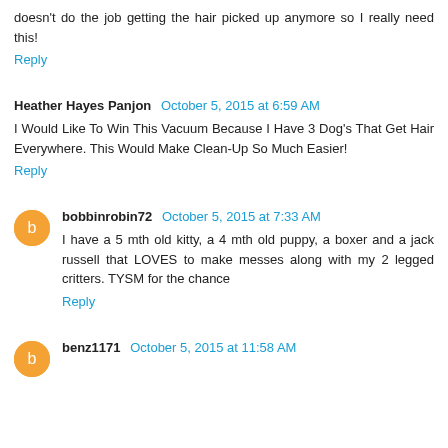doesn't do the job getting the hair picked up anymore so I really need this!
Reply
Heather Hayes Panjon  October 5, 2015 at 6:59 AM
I Would Like To Win This Vacuum Because I Have 3 Dog's That Get Hair Everywhere. This Would Make Clean-Up So Much Easier!
Reply
bobbinrobin72  October 5, 2015 at 7:33 AM
I have a 5 mth old kitty, a 4 mth old puppy, a boxer and a jack russell that LOVES to make messes along with my 2 legged critters. TYSM for the chance
Reply
benz1171  October 5, 2015 at 11:58 AM